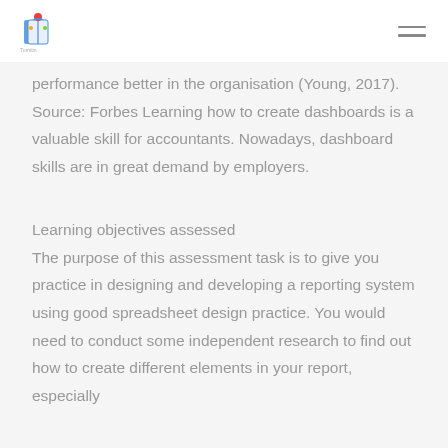performance better in the organisation (Young, 2017). Source: Forbes Learning how to create dashboards is a valuable skill for accountants. Nowadays, dashboard skills are in great demand by employers.
Learning objectives assessed
The purpose of this assessment task is to give you practice in designing and developing a reporting system using good spreadsheet design practice. You would need to conduct some independent research to find out how to create different elements in your report, especially if you are attempting the higher distinction...